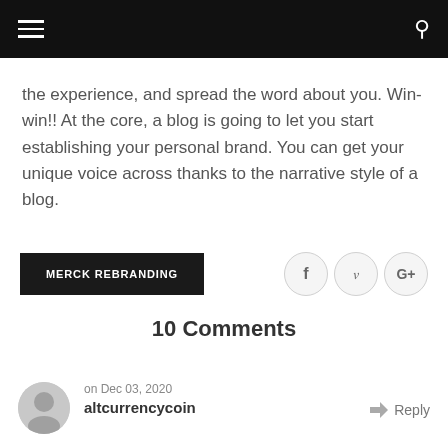Navigation bar with hamburger menu and search icon
the experience, and spread the word about you. Win-win!! At the core, a blog is going to let you start establishing your personal brand. You can get your unique voice across thanks to the narrative style of a blog.
MERCK REBRANDING
f  y  G+
10 Comments
on Dec 03, 2020
altcurrencycoin
Reply